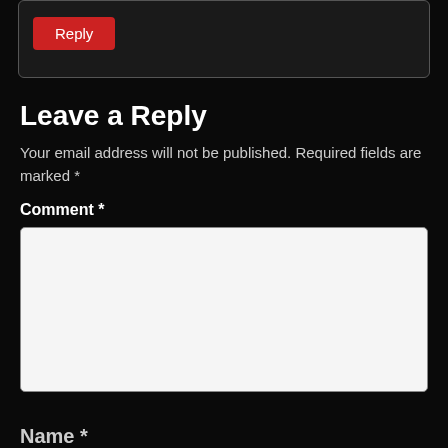[Figure (screenshot): A dark-themed web form area showing a 'Reply' button in a rounded rectangle box at the top.]
Leave a Reply
Your email address will not be published. Required fields are marked *
Comment *
[Figure (screenshot): A white textarea input box for entering a comment.]
Name *